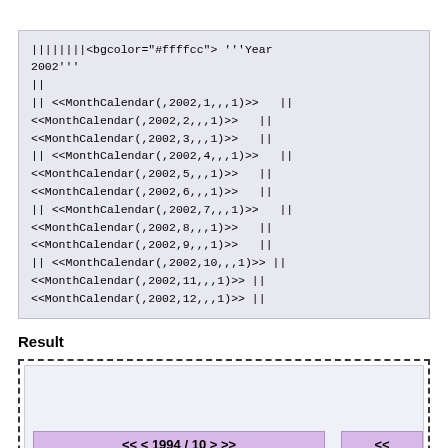||||||||<bgcolor="#ffffcc"> '''Year 2002'''
||
|| <<MonthCalendar(,2002,1,,,1)>>   ||
<<MonthCalendar(,2002,2,,,1)>>   ||
<<MonthCalendar(,2002,3,,,1)>>   ||
|| <<MonthCalendar(,2002,4,,,1)>>   ||
<<MonthCalendar(,2002,5,,,1)>>   ||
<<MonthCalendar(,2002,6,,,1)>>   ||
|| <<MonthCalendar(,2002,7,,,1)>>   ||
<<MonthCalendar(,2002,8,,,1)>>   ||
<<MonthCalendar(,2002,9,,,1)>>   ||
|| <<MonthCalendar(,2002,10,,,1)>> ||
<<MonthCalendar(,2002,11,,,1)>> ||
<<MonthCalendar(,2002,12,,,1)>> ||
Result
[Figure (screenshot): A dashed-border box showing a calendar widget result with a purple navigation bar labeled '<< < 1994 / 10 > >>' and a light purple/grey inner area.]